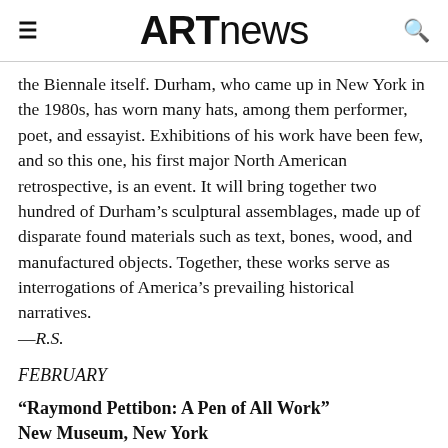ARTnews
the Biennale itself. Durham, who came up in New York in the 1980s, has worn many hats, among them performer, poet, and essayist. Exhibitions of his work have been few, and so this one, his first major North American retrospective, is an event. It will bring together two hundred of Durham’s sculptural assemblages, made up of disparate found materials such as text, bones, wood, and manufactured objects. Together, these works serve as interrogations of America’s prevailing historical narratives. —R.S.
FEBRUARY
“Raymond Pettibon: A Pen of All Work”
New Museum, New York
February 8–April 16